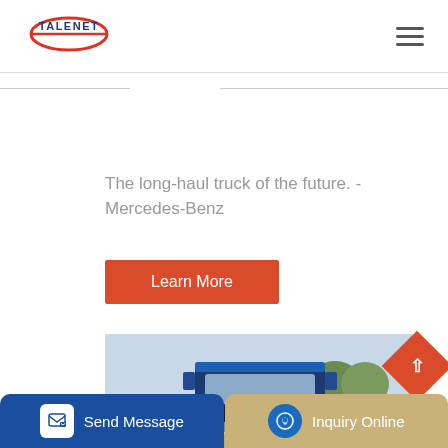[Figure (logo): TALENET company logo with red ellipse and blue text]
The long-haul truck of the future. - Mercedes-Benz
Learn More
[Figure (photo): Front view of a blue HOWO heavy-duty truck parked outdoors with trees in background]
Send Message
Inquiry Online